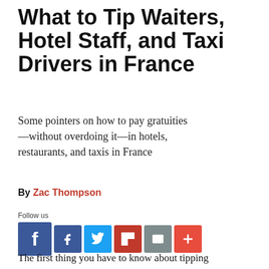What to Tip Waiters, Hotel Staff, and Taxi Drivers in France
Some pointers on how to pay gratuities—without overdoing it—in hotels, restaurants, and taxis in France
By Zac Thompson
Follow us
[Figure (infographic): Social media share buttons: large Facebook icon, followed by smaller Facebook, Twitter, Flipboard, Email, and Plus icons]
The first thing you have to know about tipping